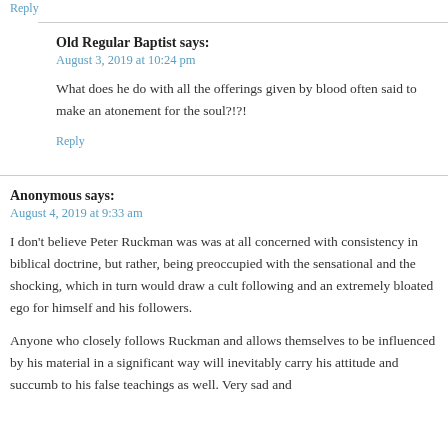Reply
Old Regular Baptist says:
August 3, 2019 at 10:24 pm
What does he do with all the offerings given by blood often said to make an atonement for the soul?!?!
Reply
Anonymous says:
August 4, 2019 at 9:33 am
I don't believe Peter Ruckman was was at all concerned with consistency in biblical doctrine, but rather, being preoccupied with the sensational and the shocking, which in turn would draw a cult following and an extremely bloated ego for himself and his followers.
Anyone who closely follows Ruckman and allows themselves to be influenced by his material in a significant way will inevitably carry his attitude and succumb to his false teachings as well. Very sad and